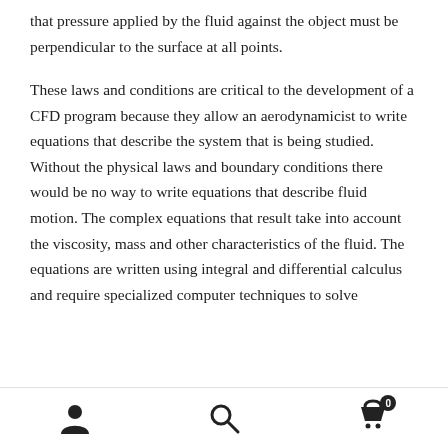that pressure applied by the fluid against the object must be perpendicular to the surface at all points.
These laws and conditions are critical to the development of a CFD program because they allow an aerodynamicist to write equations that describe the system that is being studied. Without the physical laws and boundary conditions there would be no way to write equations that describe fluid motion. The complex equations that result take into account the viscosity, mass and other characteristics of the fluid. The equations are written using integral and differential calculus and require specialized computer techniques to solve
[user icon] [search icon] [cart icon with badge 0]